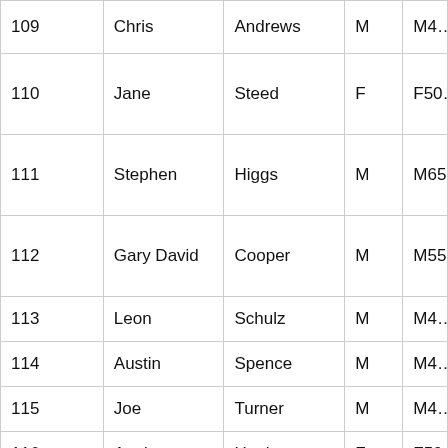| ID | First Name | Last Name | Sex | Category |
| --- | --- | --- | --- | --- |
| 109 | Chris | Andrews | M | M4… |
| 110 | Jane | Steed | F | F50… |
| 111 | Stephen | Higgs | M | M65… |
| 112 | Gary David | Cooper | M | M55… |
| 113 | Leon | Schulz | M | M4… |
| 114 | Austin | Spence | M | M4… |
| 115 | Joe | Turner | M | M4… |
| 116 | Annie | Hughes | F | F50… |
| 117 | Bob | Pearson | M | M55… |
| … | … | … | … | … |